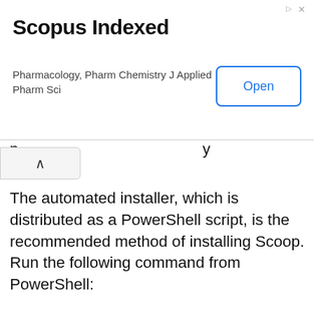[Figure (screenshot): Advertisement banner for Scopus Indexed journal - Pharmacology, Pharm Chemistry J Applied Pharm Sci - with an Open button]
The automated installer, which is distributed as a PowerShell script, is the recommended method of installing Scoop. Run the following command from PowerShell:
(Warning: This allows the current user to run scripts that come from a remote location.) Use with caution and read the Scoop website's notes for more information.)
Then, to download and install Scoop, run the command below. Check the Scoop website to make sure you're